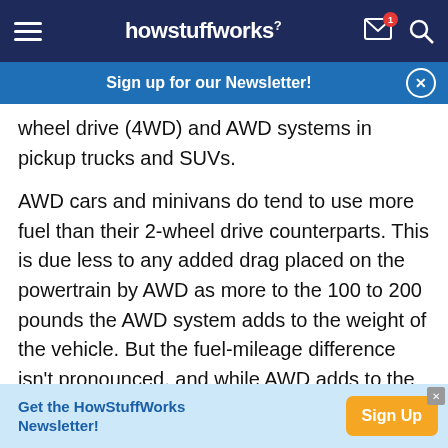howstuffworks
Sign up for our Newsletter!
wheel drive (4WD) and AWD systems in pickup trucks and SUVs.
AWD cars and minivans do tend to use more fuel than their 2-wheel drive counterparts. This is due less to any added drag placed on the powertrain by AWD as more to the 100 to 200 pounds the AWD system adds to the weight of the vehicle. But the fuel-mileage difference isn't pronounced, and while AWD adds to the purchase price of the vehicle, it's
Get the HowStuffWorks Newsletter! Sign Up